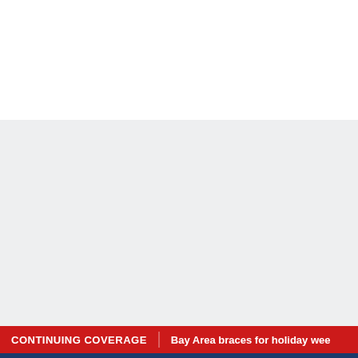[Figure (screenshot): White upper section of a news broadcast or streaming interface]
[Figure (screenshot): Light gray middle section of a news broadcast or streaming interface]
CONTINUING COVERAGE    Bay Area braces for holiday wee
Blue bottom bar of news ticker